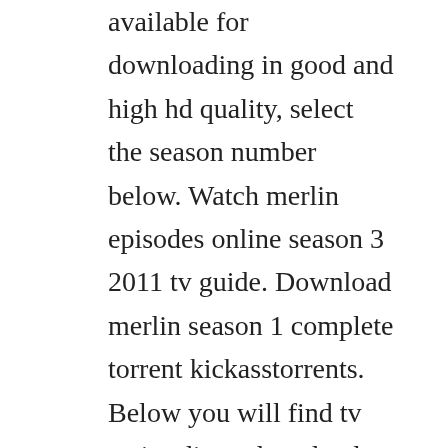available for downloading in good and high hd quality, select the season number below. Watch merlin episodes online season 3 2011 tv guide. Download merlin season 1 complete torrent kickasstorrents. Below you will find tv series direct download links as well as. Merlin faces his toughest challenge yet when morganas blinkered determination threatens not only arthurs future, but the very balance of the world. Pls i need your help for sending me merlin complete season 1 to 5 with their episodes, am trying to download but the site not direct me to were i need, pls and pls this is